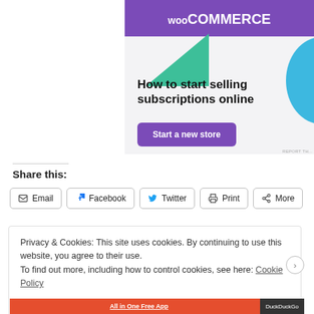[Figure (illustration): WooCommerce advertisement banner showing purple header with WooCommerce logo, green triangle shape, blue arc on right, bold headline 'How to start selling subscriptions online', and purple 'Start a new store' button on light gray background]
REPORT TH...
Share this:
[Figure (infographic): Share buttons row with icons: Email, Facebook, Twitter, Print, More]
Privacy & Cookies: This site uses cookies. By continuing to use this website, you agree to their use.
To find out more, including how to control cookies, see here: Cookie Policy
Close and accept
[Figure (screenshot): Bottom banner with red background showing 'All in One Free App' text and DuckDuckGo label]